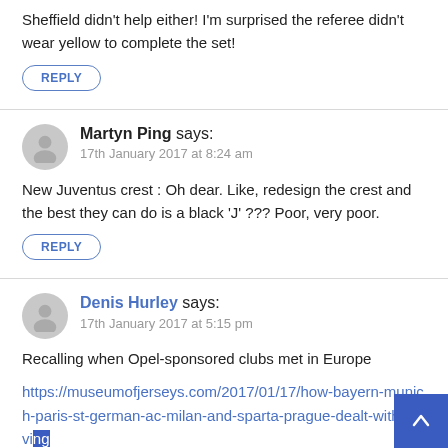Sheffield didn't help either! I'm surprised the referee didn't wear yellow to complete the set!
REPLY
Martyn Ping says:
17th January 2017 at 8:24 am
New Juventus crest : Oh dear. Like, redesign the crest and the best they can do is a black 'J' ??? Poor, very poor.
REPLY
Denis Hurley says:
17th January 2017 at 5:15 pm
Recalling when Opel-sponsored clubs met in Europe
https://museumofjerseys.com/2017/01/17/how-bayern-munich-paris-st-german-ac-milan-and-sparta-prague-dealt-with-having-opel-as-sponsors-when-they-met-in-europe/
REPLY